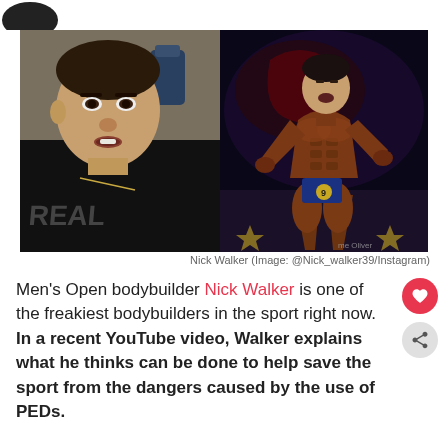[Figure (photo): Two side-by-side photos: left shows Nick Walker (a large muscular man in a dark shirt) in an interview setting; right shows a bodybuilder posing on a competition stage with dark background]
Nick Walker (Image: @Nick_walker39/Instagram)
Men's Open bodybuilder Nick Walker is one of the freakiest bodybuilders in the sport right now. In a recent YouTube video, Walker explains what he thinks can be done to help save the sport from the dangers caused by the use of PEDs.